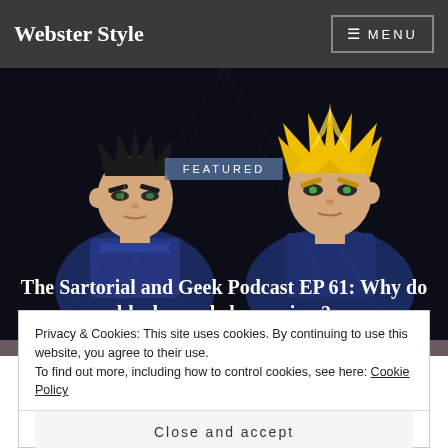Webster Style
[Figure (illustration): Two Dragon Ball Z anime characters (Vegeta and Super Saiyan Trunks) with dark background]
FEATURED
The Sartorial and Geek Podcast EP 61: Why do black people love anime?
Privacy & Cookies: This site uses cookies. By continuing to use this website, you agree to their use.
To find out more, including how to control cookies, see here: Cookie Policy
Close and accept